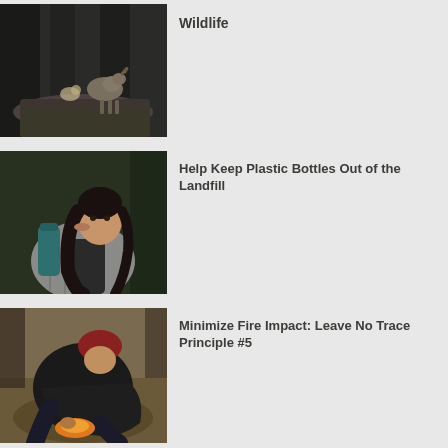[Figure (photo): A mountain goat or bighorn sheep standing on a rocky ledge in a dark forest setting]
Wildlife
[Figure (photo): A young woman with long curly hair drinking from a teal metal water bottle outdoors in a forest, wearing a puffer jacket]
Help Keep Plastic Bottles Out of the Landfill
[Figure (photo): A person crouching down in a forest, wearing a red beanie and dark jacket, tending to something on the ground]
Minimize Fire Impact: Leave No Trace Principle #5